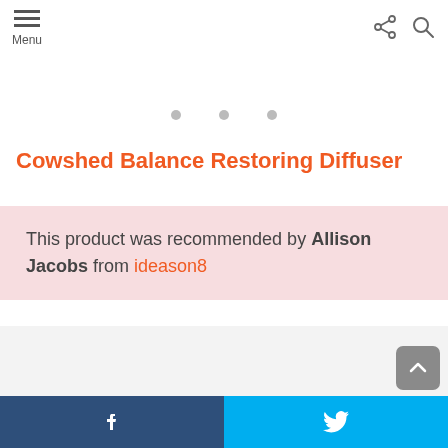Menu
Cowshed Balance Restoring Diffuser
This product was recommended by Allison Jacobs from ideason8
[Figure (screenshot): Light gray content area below the recommendation box]
Facebook and Twitter social share buttons